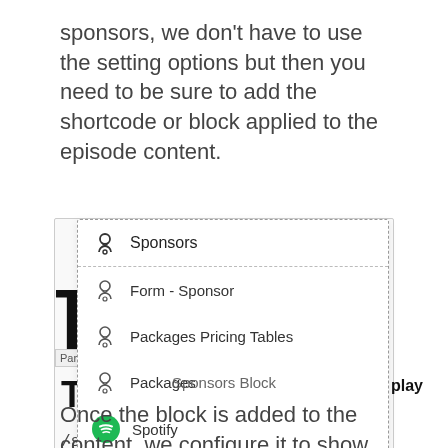sponsors, we don't have to use the setting options but then you need to be sure to add the shortcode or block applied to the episode content.
[Figure (screenshot): A dropdown menu in a block editor showing sponsor-related block options: Sponsors (header), Form - Sponsor, Packages Pricing Tables, Packages, and Spotify. Behind the dropdown is a partially visible editor interface with a bracket, Para label, T character, 'The play' text, and '/spo' text with a red dotted underline.]
Sponsors Block
Once the block is added to the content, we configure it to show all the sponsors for that